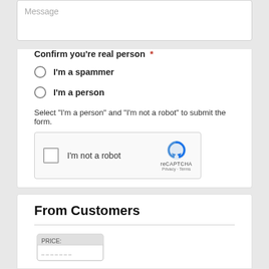Message
Confirm you're real person *
I'm a spammer
I'm a person
Select 'I'm a person' and 'I'm not a robot' to submit the form.
[Figure (screenshot): reCAPTCHA widget with checkbox labeled 'I'm not a robot', reCAPTCHA logo, Privacy and Terms links]
From Customers
[Figure (photo): Partially visible ticket or label image at bottom]